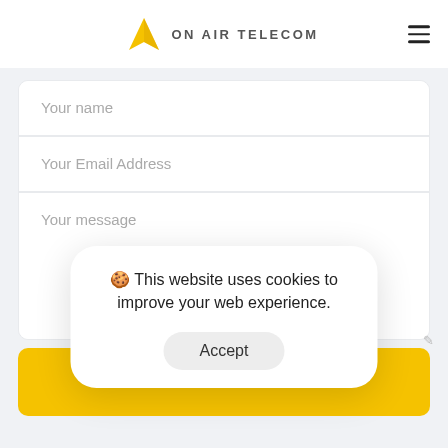ON AIR TELECOM
Your name
Your Email Address
Your message
🍪 This website uses cookies to improve your web experience.
Accept